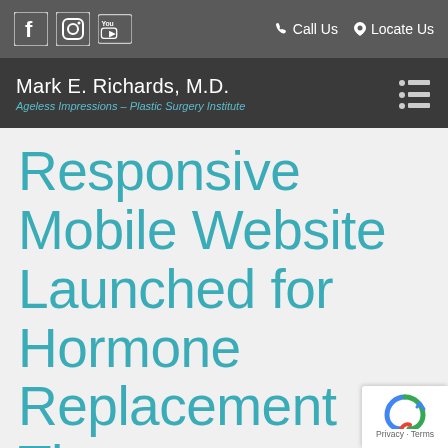Call Us  Locate Us
Mark E. Richards, M.D. — Ageless Impressions – Plastic Surgery Institute
Responsive Mobile Website Launched for Hormone Replacement Therapy
Posted on May 21, 2013